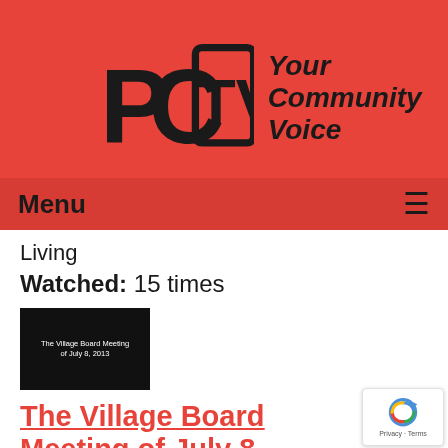[Figure (logo): PCTV logo with stylized letters PC-TV and tagline 'Your Community Voice' on red background]
Menu
Living
Watched: 15 times
[Figure (screenshot): Black thumbnail image with white text reading 'The Village Board Meeting of July 8, 2013']
The Village Board Meeting of July 8, 2013